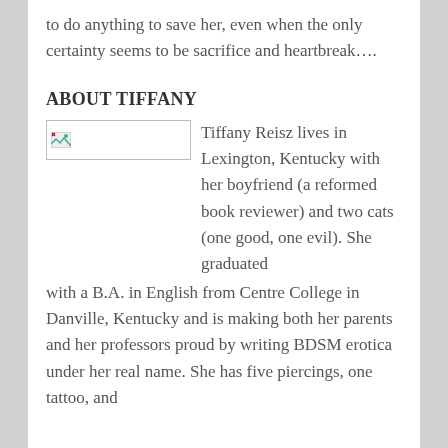to do anything to save her, even when the only certainty seems to be sacrifice and heartbreak….
ABOUT TIFFANY
[Figure (photo): Placeholder image box with broken image icon, representing a photo of Tiffany Reisz]
Tiffany Reisz lives in Lexington, Kentucky with her boyfriend (a reformed book reviewer) and two cats (one good, one evil). She graduated with a B.A. in English from Centre College in Danville, Kentucky and is making both her parents and her professors proud by writing BDSM erotica under her real name. She has five piercings, one tattoo, and